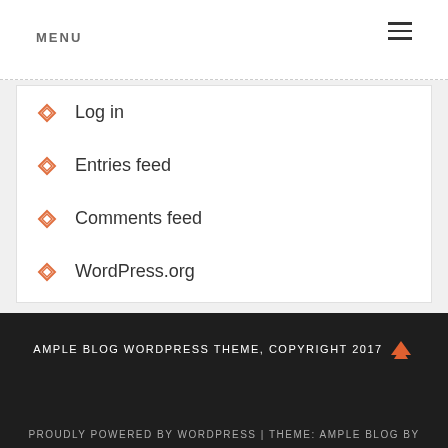MENU
Log in
Entries feed
Comments feed
WordPress.org
AMPLE BLOG WORDPRESS THEME, COPYRIGHT 2017
PROUDLY POWERED BY WORDPRESS | THEME: AMPLE BLOG BY